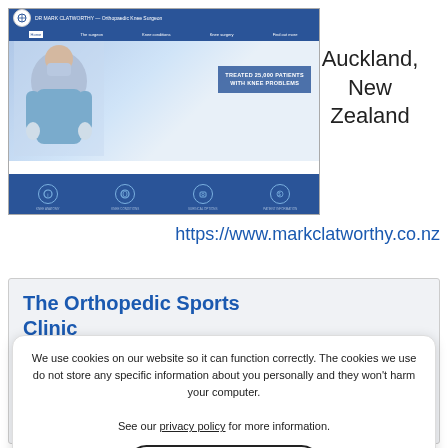[Figure (screenshot): Screenshot of Dr Mark Clatworthy orthopedic surgeon website showing a doctor in surgical mask with text 'TREATED 25,000 PATIENTS WITH KNEE PROBLEMS' and navigation icons]
Auckland, New Zealand
https://www.markclatworthy.co.nz
[Figure (screenshot): Screenshot of The Orthopedic Sports Clinic website with old-style browser interface]
The Orthopedic Sports Clinic
Houston, USA
We use cookies on our website so it can function correctly. The cookies we use do not store any specific information about you personally and they won’t harm your computer.

See our privacy policy for more information.
Accept
https://www.orthopedicsports.com